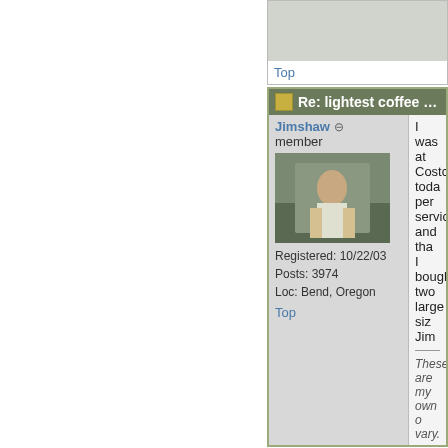Top
Re: lightest coffee pot? [Re: pha...]
Jimshaw
member
Registered: 10/22/03
Posts: 3974
Loc: Bend, Oregon
I was at Costco today per servicng" and tha I bought two large siz Jim
These are my own o vary.
Top
Re: lightest coffee pot? [Re: Jim...]
phat
Moderator
Taster's choice was a
Now having said that would work if I could tasters choice, how m